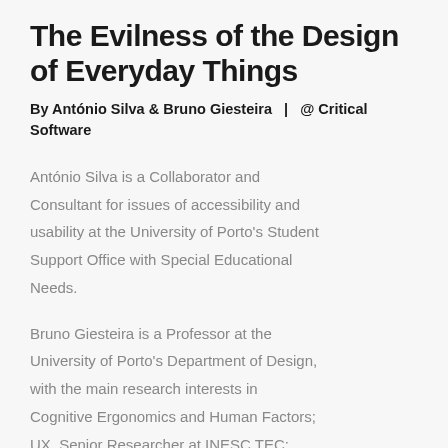The Evilness of the Design of Everyday Things
By António Silva & Bruno Giesteira   |   @ Critical Software
António Silva is a Collaborator and Consultant for issues of accessibility and usability at the University of Porto's Student Support Office with Special Educational Needs.
Bruno Giesteira is a Professor at the University of Porto's Department of Design, with the main research interests in Cognitive Ergonomics and Human Factors; UX. Senior Researcher at INESC TEC: "Systems Center for Information and